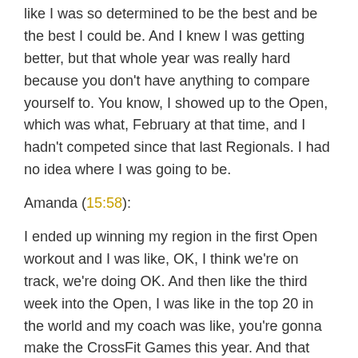like I was so determined to be the best and be the best I could be. And I knew I was getting better, but that whole year was really hard because you don't have anything to compare yourself to. You know, I showed up to the Open, which was what, February at that time, and I hadn't competed since that last Regionals. I had no idea where I was going to be.
Amanda (15:58):
I ended up winning my region in the first Open workout and I was like, OK, I think we're on track, we're doing OK. And then like the third week into the Open, I was like in the top 20 in the world and my coach was like, you're gonna make the CrossFit Games this year. And that was the first time we actually said CrossFit Games. Like we originally had just said, top 10 at Regionals, we want to